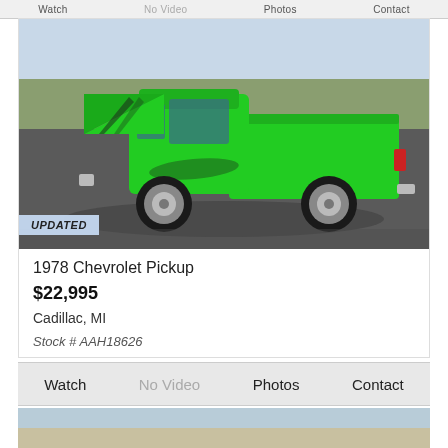Watch  No Video  Photos  Contact
[Figure (photo): 1978 Chevrolet Pickup truck in bright green with hood open, side view, parked in a lot]
UPDATED
1978 Chevrolet Pickup
$22,995
Cadillac, MI
Stock # AAH18626
Watch  No Video  Photos  Contact
[Figure (photo): Partial photo of another vehicle listing at the bottom of the page]